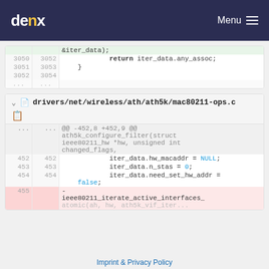denx  Menu
[Figure (screenshot): Code diff panel 1 showing lines 3050-3054 with return iter_data.any_assoc; and closing brace]
[Figure (screenshot): Code diff panel 2 for drivers/net/wireless/ath/ath5k/mac80211-ops.c showing lines 452-455 with iter_data assignments and deleted line 455]
Imprint & Privacy Policy